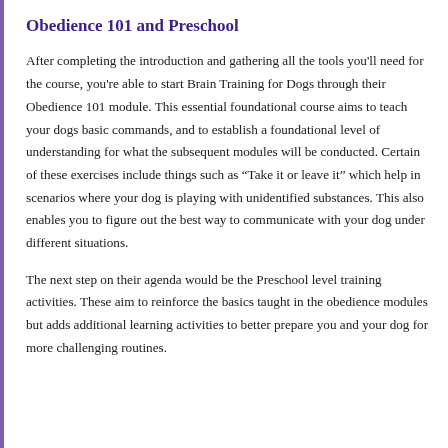Obedience 101 and Preschool
After completing the introduction and gathering all the tools you'll need for the course, you're able to start Brain Training for Dogs through their Obedience 101 module. This essential foundational course aims to teach your dogs basic commands, and to establish a foundational level of understanding for what the subsequent modules will be conducted. Certain of these exercises include things such as “Take it or leave it” which help in scenarios where your dog is playing with unidentified substances. This also enables you to figure out the best way to communicate with your dog under different situations.
The next step on their agenda would be the Preschool level training activities. These aim to reinforce the basics taught in the obedience modules but adds additional learning activities to better prepare you and your dog for more challenging routines.